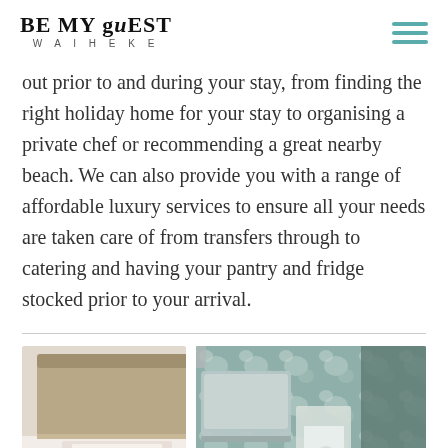BE MY GUEST WAIHEKE
out prior to and during your stay, from finding the right holiday home for your stay to organising a private chef or recommending a great nearby beach. We can also provide you with a range of affordable luxury services to ensure all your needs are taken care of from transfers through to catering and having your pantry and fridge stocked prior to your arrival.
[Figure (photo): Two photos side by side: left shows a hotel bedroom with wooden headboard and white pillows; right shows a laptop on a table with floral wallpaper in the background and a glass of water.]